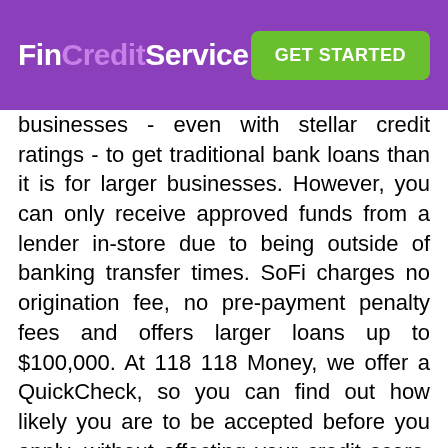FinCreditService | GET STARTED
businesses - even with stellar credit ratings - to get traditional bank loans than it is for larger businesses. However, you can only receive approved funds from a lender in-store due to being outside of banking transfer times. SoFi charges no origination fee, no pre-payment penalty fees and offers larger loans up to $100,000. At 118 118 Money, we offer a QuickCheck, so you can find out how likely you are to be accepted before you apply, without affecting your credit score. Along with the valuable advice, you also get loans for the amount you need within a very short turnaround time. Sometimes, depending on the lender you could get your cash within the same hour.
The amount of these loans varies, but it's usually for much less than your car is actually worth. Many personal loan lenders charge lower interest rates than large banks, and they are more willing to work with borrowers who have lower credit scores. More and more reputable